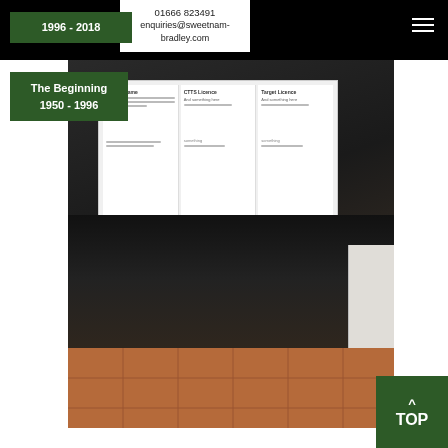01666 823491
enquiries@sweetnam-bradley.com
1996 - 2018
The Beginning
1950 - 1996
[Figure (photo): Person sitting in a black office chair holding up what appear to be documents/certificates, obscuring their face and upper body. Visible are dark trousers, part of a tiled floor, and a white radiator in the background.]
^ TOP